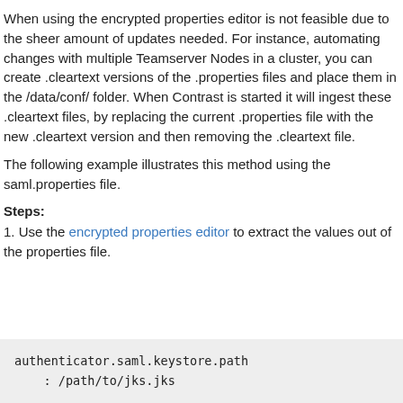When using the encrypted properties editor is not feasible due to the sheer amount of updates needed. For instance, automating changes with multiple Teamserver Nodes in a cluster, you can create .cleartext versions of the .properties files and place them in the /data/conf/ folder. When Contrast is started it will ingest these .cleartext files, by replacing the current .properties file with the new .cleartext version and then removing the .cleartext file.
The following example illustrates this method using the saml.properties file.
Steps:
1. Use the encrypted properties editor to extract the values out of the properties file.
[Figure (screenshot): Code block showing: authenticator.saml.keystore.path
    : /path/to/jks.jks]